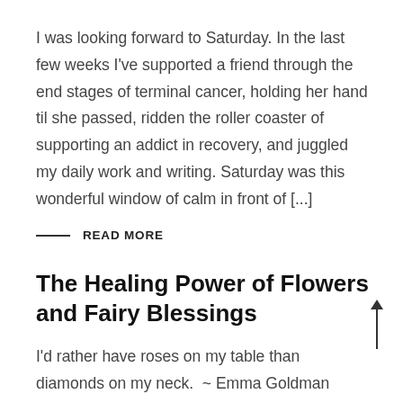I was looking forward to Saturday. In the last few weeks I've supported a friend through the end stages of terminal cancer, holding her hand til she passed, ridden the roller coaster of supporting an addict in recovery, and juggled my daily work and writing. Saturday was this wonderful window of calm in front of [...]
— READ MORE
The Healing Power of Flowers and Fairy Blessings
I'd rather have roses on my table than diamonds on my neck.  ~ Emma Goldman Flowers are a precious gift from nature.  Their colour, fragrance, shape and texture have a marvellous ability to impart energetic and healing